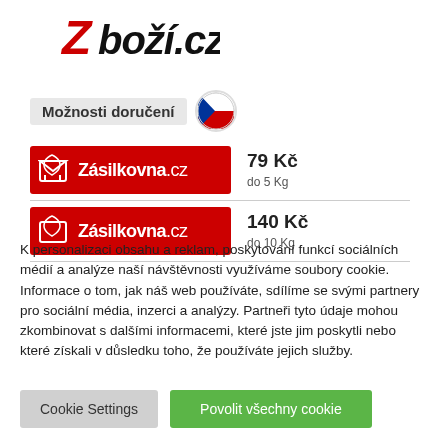[Figure (logo): Zboží.cz logo in stylized handwritten font with red accent on Z]
Možnosti doručení
| Dopravce | Cena | Limit |
| --- | --- | --- |
| Zásilkovna.cz | 79 Kč | do 5 Kg |
| Zásilkovna.cz | 140 Kč | do 10 Kg |
K personalizaci obsahu a reklam, poskytování funkcí sociálních médií a analýze naší návštěvnosti využíváme soubory cookie. Informace o tom, jak náš web používáte, sdílíme se svými partnery pro sociální média, inzerci a analýzy. Partneři tyto údaje mohou zkombinovat s dalšími informacemi, které jste jim poskytli nebo které získali v důsledku toho, že používáte jejich služby.
Cookie Settings
Povolit všechny cookie